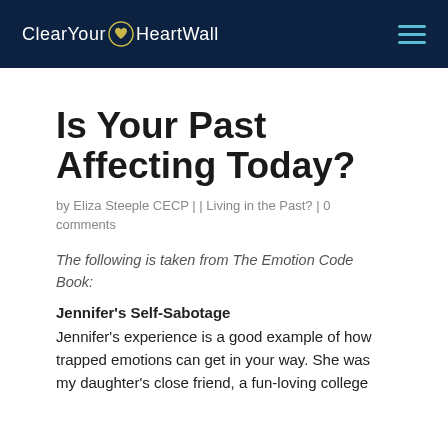ClearYour HeartWall
Is Your Past Affecting Today?
by Eliza Steeple CECP | | Living in the Past? | 0 comments
The following is taken from The Emotion Code Book:
Jennifer's Self-Sabotage
Jennifer's experience is a good example of how trapped emotions can get in your way. She was my daughter's close friend, a fun-loving college